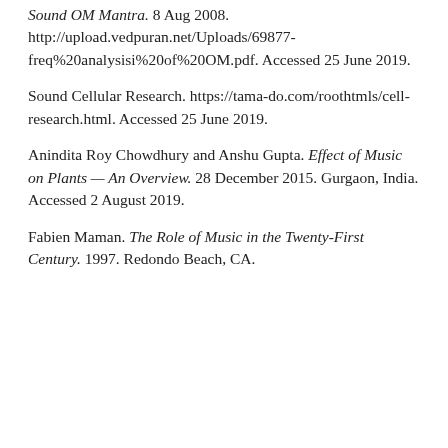Sound OM Mantra. 8 Aug 2008. http://upload.vedpuran.net/Uploads/69877-freq%20analysisi%20of%20OM.pdf. Accessed 25 June 2019.
Sound Cellular Research. https://tama-do.com/roothtmls/cell-research.html. Accessed 25 June 2019.
Anindita Roy Chowdhury and Anshu Gupta. Effect of Music on Plants — An Overview. 28 December 2015. Gurgaon, India. Accessed 2 August 2019.
Fabien Maman. The Role of Music in the Twenty-First Century. 1997. Redondo Beach, CA.